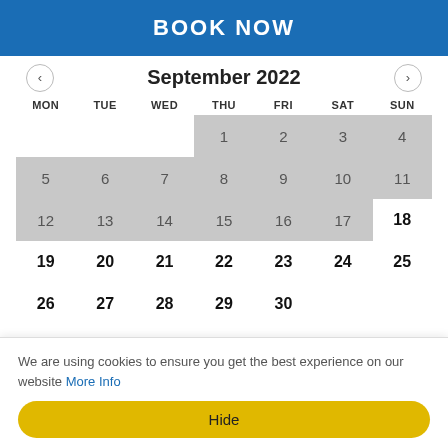BOOK NOW
[Figure (other): September 2022 calendar with navigation arrows. Dates 1-17 shown with gray background (unavailable/past). Dates 18-30 shown in bold (available). Cookie consent bar overlays the bottom portion showing last row (26-30).]
We are using cookies to ensure you get the best experience on our website More Info
Hide